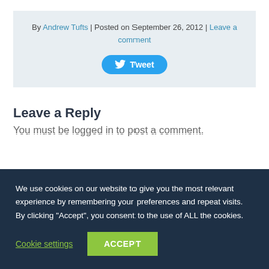By Andrew Tufts | Posted on September 26, 2012 | Leave a comment
[Figure (other): Tweet button with Twitter bird icon]
Leave a Reply
You must be logged in to post a comment.
We use cookies on our website to give you the most relevant experience by remembering your preferences and repeat visits. By clicking "Accept", you consent to the use of ALL the cookies.
Cookie settings | ACCEPT